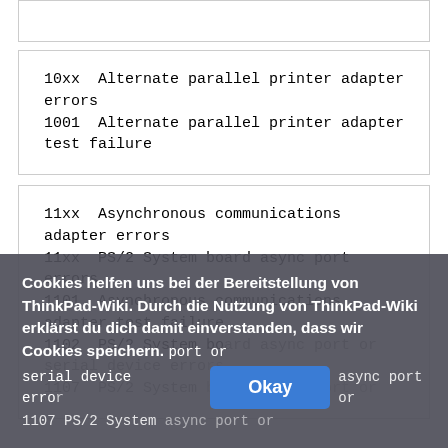10xx  Alternate parallel printer adapter errors
 1001  Alternate parallel printer adapter test failure
11xx  Asynchronous communications adapter errors
 11xx  PS/2 System board async port errors
 1101  Asynchronous communications adapter test failure
 1102  PS/2 System board async port or serial device errors
 1107  PS/2 System board async port or
Cookies helfen uns bei der Bereitstellung von ThinkPad-Wiki. Durch die Nutzung von ThinkPad-Wiki erklärst du dich damit einverstanden, dass wir Cookies speichern. port or serial device errors 1107 PS/2 System board async port or